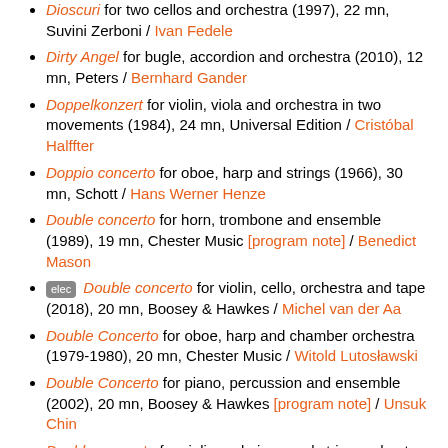Dioscuri for two cellos and orchestra (1997), 22 mn, Suvini Zerboni / Ivan Fedele
Dirty Angel for bugle, accordion and orchestra (2010), 12 mn, Peters / Bernhard Gander
Doppelkonzert for violin, viola and orchestra in two movements (1984), 24 mn, Universal Edition / Cristóbal Halffter
Doppio concerto for oboe, harp and strings (1966), 30 mn, Schott / Hans Werner Henze
Double concerto for horn, trombone and ensemble (1989), 19 mn, Chester Music [program note] / Benedict Mason
elec Double concerto for violin, cello, orchestra and tape (2018), 20 mn, Boosey & Hawkes / Michel van der Aa
Double Concerto for oboe, harp and chamber orchestra (1979-1980), 20 mn, Chester Music / Witold Lutosławski
Double Concerto for piano, percussion and ensemble (2002), 20 mn, Boosey & Hawkes [program note] / Unsuk Chin
Double concerto for violin and piano and string orchestra (2011), 20 mn, Wilhelm Hansen / Hans Abrahamsen
Double concerto for violin, piano and chamber orchestra (1950), 20 mn, Universal Edition / Ernst Krenek
Double Concerto for violin, cello and orchestra for orchestra